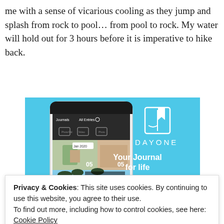me with a sense of vicarious cooling as they jump and splash from rock to pool… from pool to rock. My water will hold out for 3 hours before it is imperative to hike back.
[Figure (screenshot): DayOne app advertisement showing a smartphone displaying a journal app with photos, with text 'DAYONE Your Journal for life' on a light blue background]
Privacy & Cookies: This site uses cookies. By continuing to use this website, you agree to their use.
To find out more, including how to control cookies, see here: Cookie Policy
into mid-summer, the eaglets will spend their days